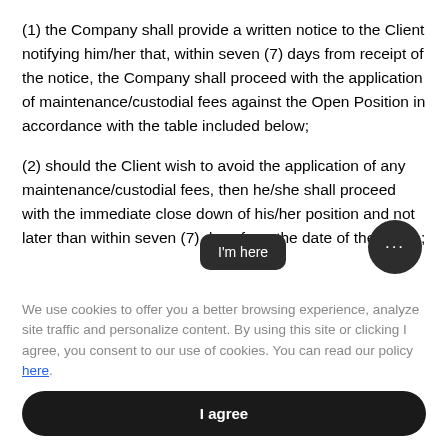(1) the Company shall provide a written notice to the Client notifying him/her that, within seven (7) days from receipt of the notice, the Company shall proceed with the application of maintenance/custodial fees against the Open Position in accordance with the table included below;
(2) should the Client wish to avoid the application of any maintenance/custodial fees, then he/she shall proceed with the immediate close down of his/her position and not later than within seven (7) days from the date of the notice;
We use cookies to offer you a better browsing experience, analyze site traffic and personalize content. By using this site or clicking I agree, you consent to our use of cookies. You can read our policy here.